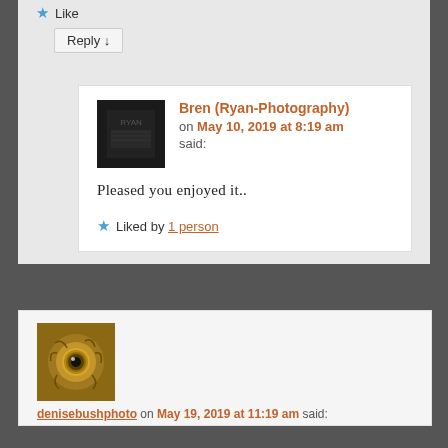★ Like
Reply ↓
Bren (Ryan-Photography)
on May 10, 2019 at 8:19 am said:
[Figure (photo): Dark square avatar image for Bren (Ryan-Photography)]
Pleased you enjoyed it..
★ Liked by 1 person
[Figure (photo): Close-up photo of an owl's eye with golden/brown feathers surrounding it]
denisebushphoto on May 19, 2019 at 11:19 am said: